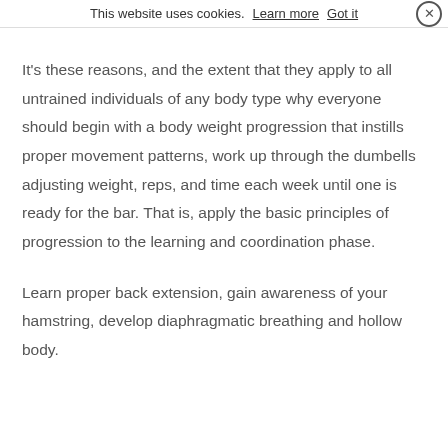This website uses cookies. Learn more   Got it  ✕
It's these reasons, and the extent that they apply to all untrained individuals of any body type why everyone should begin with a body weight progression that instills proper movement patterns, work up through the dumbells adjusting weight, reps, and time each week until one is ready for the bar. That is, apply the basic principles of progression to the learning and coordination phase.
Learn proper back extension, gain awareness of your hamstring, develop diaphragmatic breathing and hollow body.